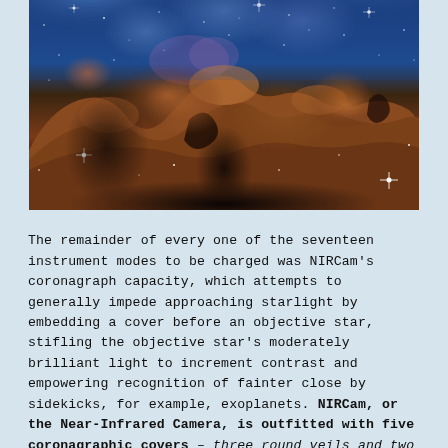[Figure (photo): James Webb Space Telescope image of the Carina Nebula (Cosmic Cliffs), showing towering mountains of gas and dust in orange-brown hues against a deep blue star-filled background.]
The remainder of every one of the seventeen instrument modes to be charged was NIRCam's coronagraph capacity, which attempts to generally impede approaching starlight by embedding a cover before an objective star, stifling the objective star's moderately brilliant light to increment contrast and empowering recognition of fainter close by sidekicks, for example, exoplanets. NIRCam, or the Near-Infrared Camera, is outfitted with five coronagraphic covers – three round veils and two are blade coronagraphs that stifle